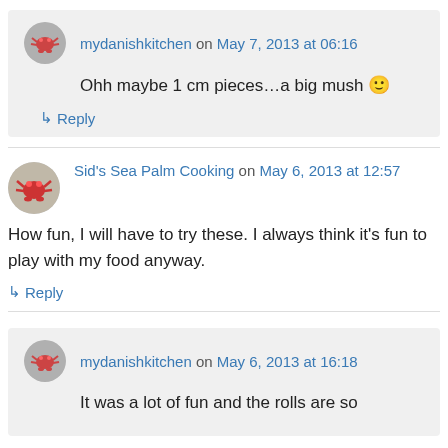mydanishkitchen on May 7, 2013 at 06:16
Ohh maybe 1 cm pieces…a big mush 🙂
Reply
Sid's Sea Palm Cooking on May 6, 2013 at 12:57
How fun, I will have to try these. I always think it's fun to play with my food anyway.
Reply
mydanishkitchen on May 6, 2013 at 16:18
It was a lot of fun and the rolls are so